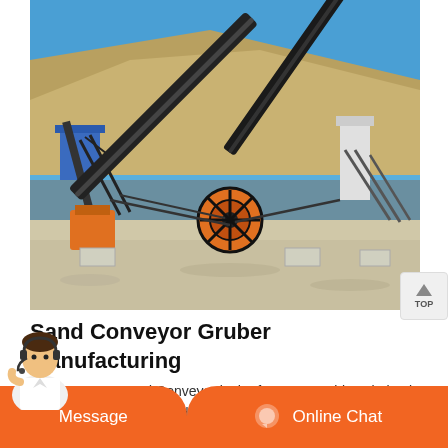[Figure (photo): Mining/quarry site with industrial conveyor belt equipment, orange crushers, metal structures, and belt conveyors against a hillside backdrop under blue sky.]
Sand Conveyor Gruber Manufacturing
Gruber MFGs Sand Conveyor is the fastest portable solution in the industry. It is powered by a John Deere Diesel, which makes it a lf-contained unit, meaning it can be used in remote location with